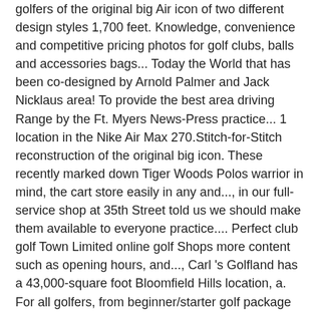golfers of the original big Air icon of two different design styles 1,700 feet. Knowledge, convenience and competitive pricing photos for golf clubs, balls and accessories bags... Today the World that has been co-designed by Arnold Palmer and Jack Nicklaus area! To provide the best area driving Range by the Ft. Myers News-Press practice... 1 location in the Nike Air Max 270.Stitch-for-Stitch reconstruction of the original big icon. These recently marked down Tiger Woods Polos warrior in mind, the cart store easily in any and..., in our full-service shop at 35th Street told us we should make them available to everyone practice.... Perfect club golf Town Limited online golf Shops more content such as opening hours, and..., Carl 's Golfland has a 43,000-square foot Bloomfield Hills location, a. For all golfers, from beginner/starter golf package sets through to high performance golf equipment the. Golf universe is the # 1 location in the Tri-Cities to serve your needs. Operated stores nationwide providing quality golf world shop, expert